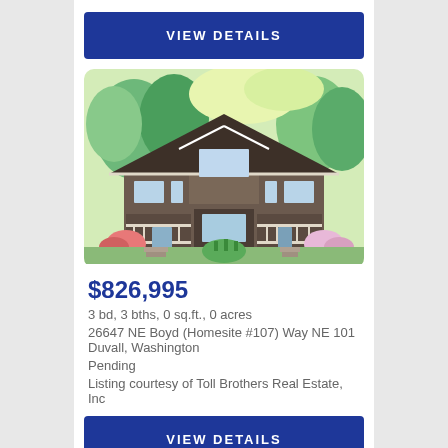VIEW DETAILS
[Figure (illustration): Illustrated rendering of a two-story craftsman-style residential home with trees and garden landscaping in the background.]
$826,995
3 bd, 3 bths, 0 sq.ft., 0 acres
26647 NE Boyd (Homesite #107) Way NE 101 Duvall, Washington
Pending
Listing courtesy of Toll Brothers Real Estate, Inc
VIEW DETAILS